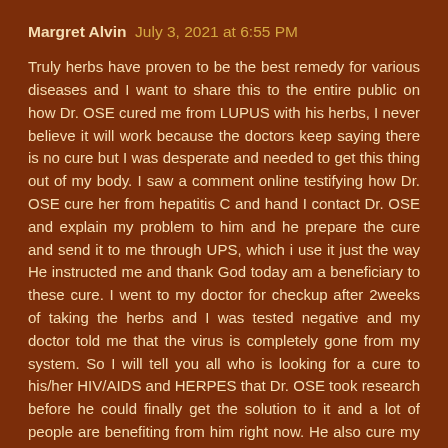Margret Alvin  July 3, 2021 at 6:55 PM
Truly herbs have proven to be the best remedy for various diseases and I want to share this to the entire public on how Dr. OSE cured me from LUPUS with his herbs, I never believe it will work because the doctors keep saying there is no cure but I was desperate and needed to get this thing out of my body. I saw a comment online testifying how Dr. OSE cure her from hepatitis C and hand I contact Dr. OSE and explain my problem to him and he prepare the cure and send it to me through UPS, which i use it just the way He instructed me and thank God today am a beneficiary to these cure. I went to my doctor for checkup after 2weeks of taking the herbs and I was tested negative and my doctor told me that the virus is completely gone from my system. So I will tell you all who is looking for a cure to his/her HIV/AIDS and HERPES that Dr. OSE took research before he could finally get the solution to it and a lot of people are benefiting from him right now. He also cure my Uncle and his wife from HPV. Dr. OSE heals with natural herbs. Please I urge you to contact him now through his email address: droseherbalhome@gmail.com